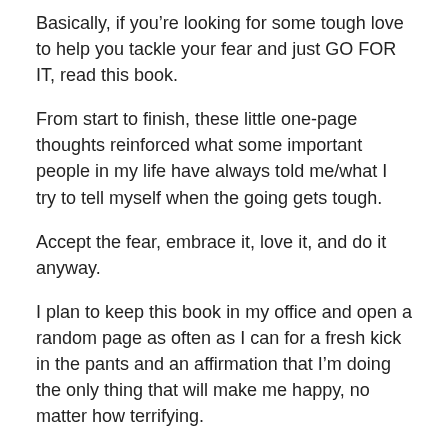Basically, if you're looking for some tough love to help you tackle your fear and just GO FOR IT, read this book.
From start to finish, these little one-page thoughts reinforced what some important people in my life have always told me/what I try to tell myself when the going gets tough.
Accept the fear, embrace it, love it, and do it anyway.
I plan to keep this book in my office and open a random page as often as I can for a fresh kick in the pants and an affirmation that I'm doing the only thing that will make me happy, no matter how terrifying.
Have you read this book yet? What do you think? Let me know in the comments!